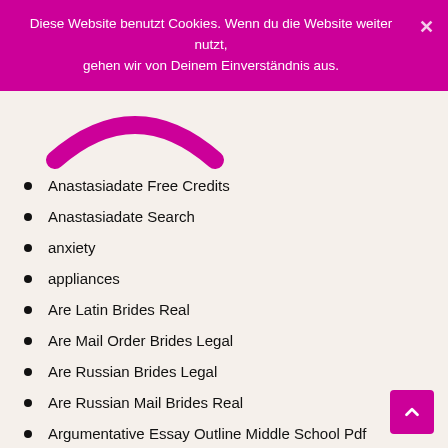Diese Website benutzt Cookies. Wenn du die Website weiter nutzt, gehen wir von Deinem Einverständnis aus.
[Figure (logo): Partial logo showing a magenta/pink curved smile shape on a light beige background]
Anastasiadate Free Credits
Anastasiadate Search
anxiety
appliances
Are Latin Brides Real
Are Mail Order Brides Legal
Are Russian Brides Legal
Are Russian Mail Brides Real
Argumentative Essay Outline Middle School Pdf
Ashley Madison Reviews